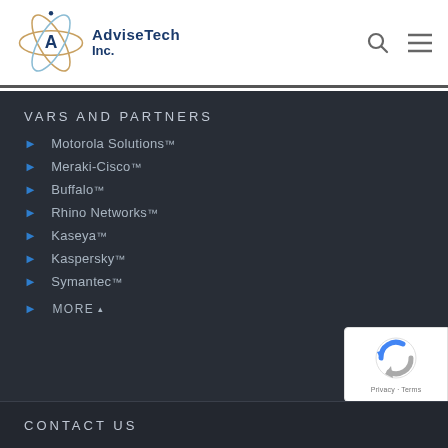[Figure (logo): AdviseTech Inc. logo with atomic/orbital design and company name]
VARS AND PARTNERS
Motorola Solutions™
Meraki-Cisco™
Buffalo™
Rhino Networks™
Kaseya™
Kaspersky™
Symantec™
MORE
CONTACT US